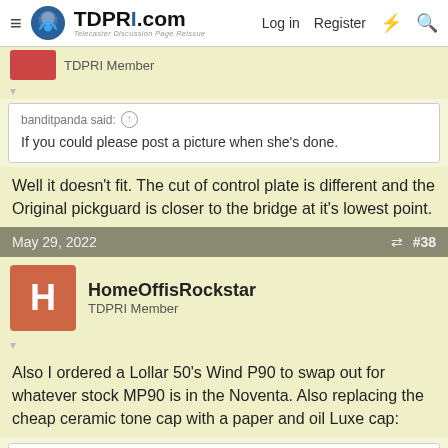TDPRI.com — Telecaster Discussion Page Reissue — Log in  Register
TDPRI Member
banditpanda said: ↑
If you could please post a picture when she's done.
Well it doesn't fit. The cut of control plate is different and the Original pickguard is closer to the bridge at it's lowest point.
May 29, 2022  #38
HomeOffisRockstar
TDPRI Member
Also I ordered a Lollar 50's Wind P90 to swap out for whatever stock MP90 is in the Noventa. Also replacing the cheap ceramic tone cap with a paper and oil Luxe cap:
Luxe Capacitor
Check out the deal on Luxe Capacitor at Lollar Pickups